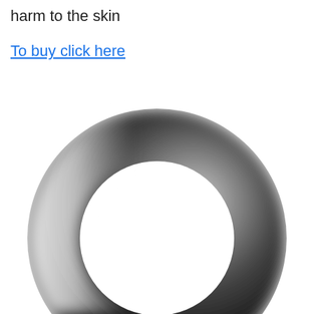harm to the skin
To buy click here
[Figure (illustration): A large circular ring shape rendered in grayscale with a gradient effect — lighter/white on the left side fading to dark gray/black on the right side, with a white center. The ring is blurred/soft-edged and partially cropped at the bottom-right of the image.]